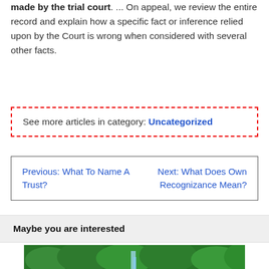made by the trial court. ... On appeal, we review the entire record and explain how a specific fact or inference relied upon by the Court is wrong when considered with several other facts.
See more articles in category: Uncategorized
Previous: What To Name A Trust?	Next: What Does Own Recognizance Mean?
Maybe you are interested
[Figure (photo): Green tropical forest with waterfall, lush vegetation]